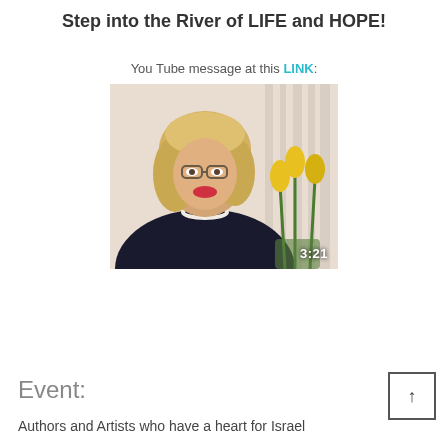Step into the River of LIFE and HOPE!
You Tube message at this LINK:
[Figure (photo): Video thumbnail showing a blonde woman with glasses wearing a black top and pearl necklace, seated in front of yellow tulips. Duration shown: 3:21]
Event:
Authors and Artists who have a heart for Israel